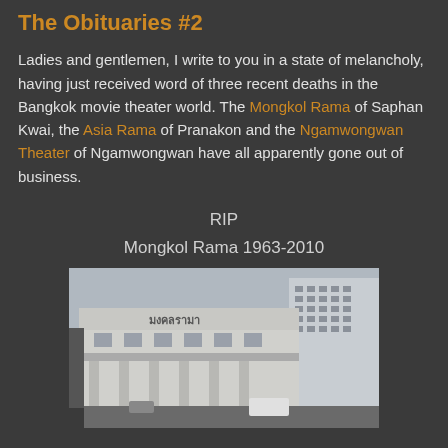The Obituaries #2
Ladies and gentlemen, I write to you in a state of melancholy, having just received word of three recent deaths in the Bangkok movie theater world. The Mongkol Rama of Saphan Kwai, the Asia Rama of Pranakon and the Ngamwongwan Theater of Ngamwongwan have all apparently gone out of business.
RIP
Mongkol Rama 1963-2010
[Figure (photo): Exterior photograph of the Mongkol Rama movie theater building, a multi-story concrete structure with Thai script signage on the facade, taken from street level showing the entrance area with vehicles parked nearby.]